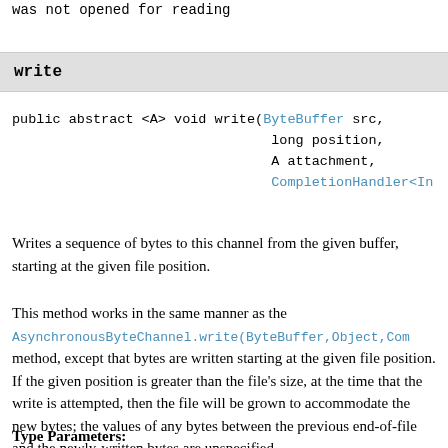was not opened for reading
write
public abstract <A> void write(ByteBuffer src,
                              long position,
                              A attachment,
                              CompletionHandler<In
Writes a sequence of bytes to this channel from the given buffer, starting at the given file position.
This method works in the same manner as the AsynchronousByteChannel.write(ByteBuffer,Object,Com method, except that bytes are written starting at the given file position. If the given position is greater than the file's size, at the time that the write is attempted, then the file will be grown to accommodate the new bytes; the values of any bytes between the previous end-of-file and the newly-written bytes are unspecified.
Type Parameters: